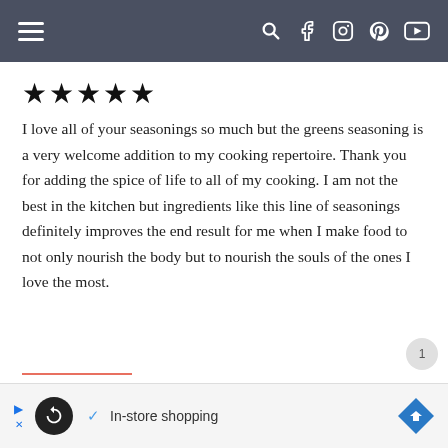Navigation bar with menu, search, facebook, instagram, pinterest, youtube icons
★★★★★
I love all of your seasonings so much but the greens seasoning is a very welcome addition to my cooking repertoire. Thank you for adding the spice of life to all of my cooking. I am not the best in the kitchen but ingredients like this line of seasonings definitely improves the end result for me when I make food to not only nourish the body but to nourish the souls of the ones I love the most.
[Figure (screenshot): Advertisement banner with loop icon, checkmark, 'In-store shopping' text, and blue diamond arrow icon]